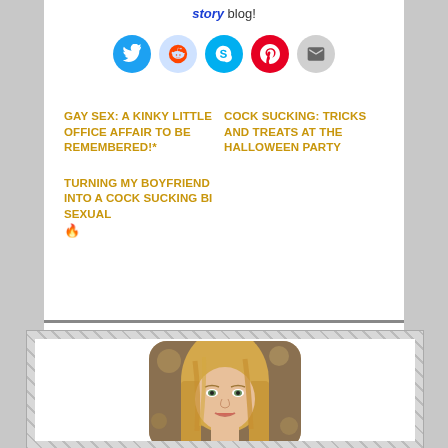story blog!
[Figure (other): Row of social share icons: Twitter (blue), Reddit (light blue), Skype (blue), Pinterest (red), Email (gray)]
GAY SEX: A KINKY LITTLE OFFICE AFFAIR TO BE REMEMBERED!*
COCK SUCKING: TRICKS AND TREATS AT THE HALLOWEEN PARTY
TURNING MY BOYFRIEND INTO A COCK SUCKING BI SEXUAL 🔥
[Figure (photo): Portrait photo of a blonde woman with long straight hair, smiling, with a bokeh background]